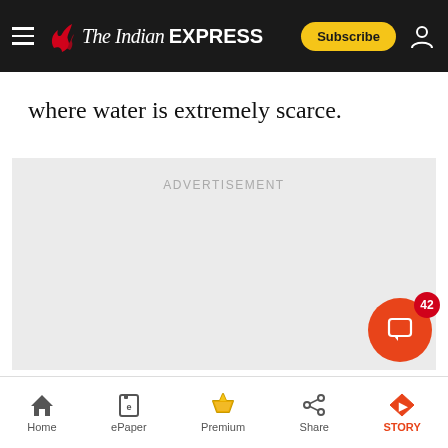The Indian Express
where water is extremely scarce.
[Figure (other): Advertisement placeholder area with 'ADVERTISEMENT' label]
Home | ePaper | Premium | Share | STORY